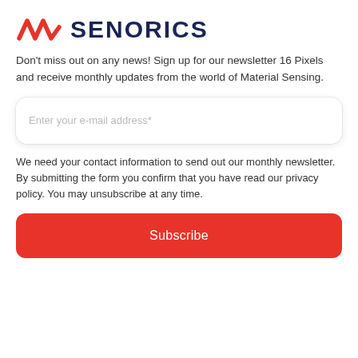[Figure (logo): Senorics logo: a red wave/zigzag icon followed by bold dark navy text 'SENORICS']
Don't miss out on any news! Sign up for our newsletter 16 Pixels and receive monthly updates from the world of Material Sensing.
Enter your e-mail address*
We need your contact information to send out our monthly newsletter. By submitting the form you confirm that you have read our privacy policy. You may unsubscribe at any time.
Subscribe